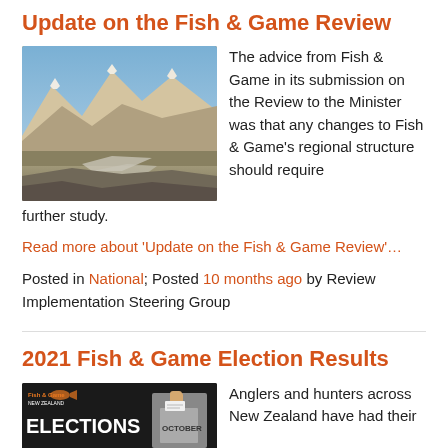Update on the Fish & Game Review
[Figure (photo): Mountain landscape with rocky terrain, snow-capped peaks, and a dry riverbed in the foreground under blue sky.]
The advice from Fish & Game in its submission on the Review to the Minister was that any changes to Fish & Game's regional structure should require further study.
Read more about 'Update on the Fish & Game Review'…
Posted in National; Posted 10 months ago by Review Implementation Steering Group
2021 Fish & Game Election Results
[Figure (photo): Fish & Game Elections banner with a hand inserting a ballot into a box labeled OCTOBER.]
Anglers and hunters across New Zealand have had their